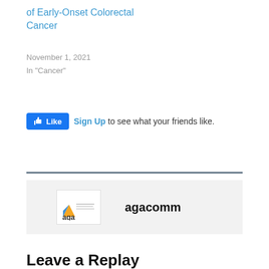of Early-Onset Colorectal Cancer
November 1, 2021
In "Cancer"
[Figure (other): Facebook Like button widget with Sign Up link text: 'Sign Up to see what your friends like.']
[Figure (logo): AGA (American Gastroenterological Association) logo with agacomm author name]
Leave a Replay